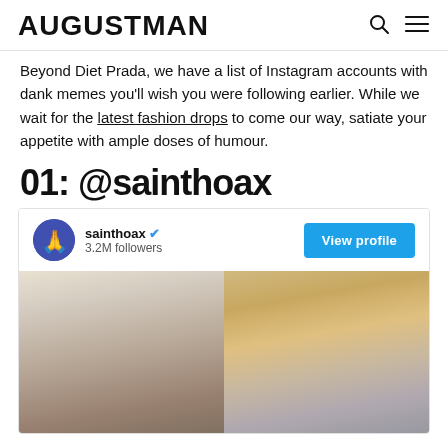AUGUSTMAN
Beyond Diet Prada, we have a list of Instagram accounts with dank memes you'll wish you were following earlier. While we wait for the latest fashion drops to come our way, satiate your appetite with ample doses of humour.
01: @sainthoax
[Figure (screenshot): Instagram profile card for @sainthoax showing 3.2M followers, a verified badge, a 'View profile' button, and a post image showing two people side by side.]